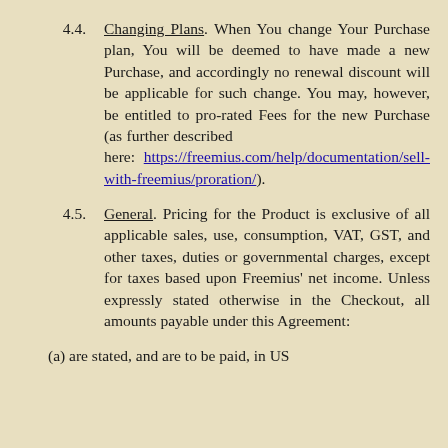4.4. Changing Plans. When You change Your Purchase plan, You will be deemed to have made a new Purchase, and accordingly no renewal discount will be applicable for such change. You may, however, be entitled to pro-rated Fees for the new Purchase (as further described here: https://freemius.com/help/documentation/sell-with-freemius/proration/).
4.5. General. Pricing for the Product is exclusive of all applicable sales, use, consumption, VAT, GST, and other taxes, duties or governmental charges, except for taxes based upon Freemius' net income. Unless expressly stated otherwise in the Checkout, all amounts payable under this Agreement:
(a) are stated, and are to be paid, in US